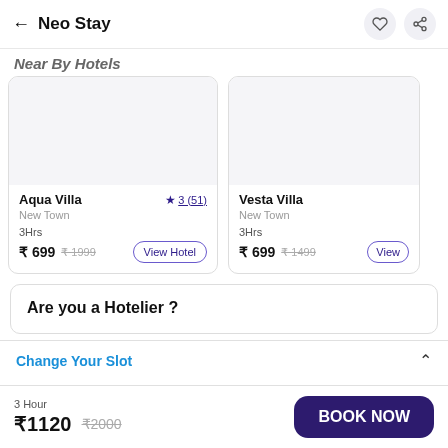← Neo Stay
Near By Hotels
Aqua Villa | ★ 3 (51) | New Town | 3Hrs | ₹ 699  ₹ 1999 | View Hotel
Vesta Villa | New Town | 3Hrs | ₹ 699  ₹ 1499 | View
Are you a Hotelier ?
Change Your Slot
3 Hour | ₹1120  ₹2000 | BOOK NOW